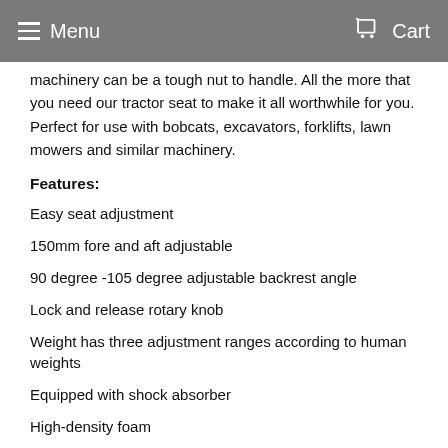Menu  Cart
machinery can be a tough nut to handle. All the more that you need our tractor seat to make it all worthwhile for you. Perfect for use with bobcats, excavators, forklifts, lawn mowers and similar machinery.
Features:
Easy seat adjustment
150mm fore and aft adjustable
90 degree -105 degree adjustable backrest angle
Lock and release rotary knob
Weight has three adjustment ranges according to human weights
Equipped with shock absorber
High-density foam
High-quality PU leather
Waterproof and durable...